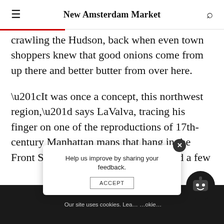New Amsterdam Market
crawling the Hudson, back when even town shoppers knew that good onions come from up there and better butter from over here.
“It was once a concept, this northwest region,” says LaValva, tracing his finger on one of the reproductions of 17th-century Manhattan maps that hang in the Front Street headquarters where he and a few full-time staffers now work during the week, calling politicians or hunting down street… looking
Our site uses cookies. Lea… …okie…
Help us improve by sharing your feedback.
ACCEPT